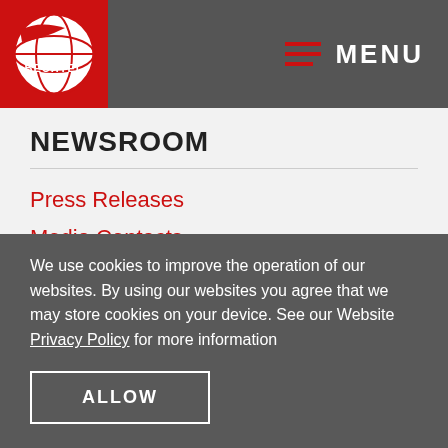MENU
NEWSROOM
Press Releases
Media Contacts
CAREERS
Careers at Bechtel
We use cookies to improve the operation of our websites. By using our websites you agree that we may store cookies on your device. See our Website Privacy Policy for more information
ALLOW